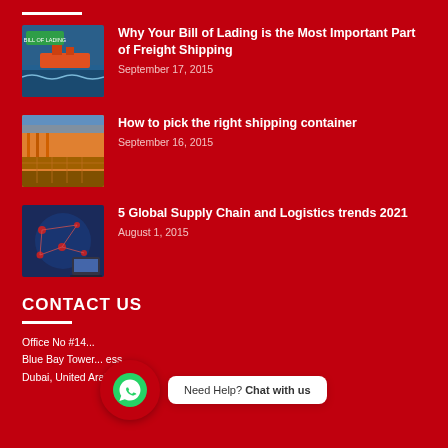Why Your Bill of Lading is the Most Important Part of Freight Shipping — September 17, 2015
How to pick the right shipping container — September 16, 2015
5 Global Supply Chain and Logistics trends 2021 — August 1, 2015
CONTACT US
Office No #14...
Blue Bay Tower...
Dubai, United Arab Emirates